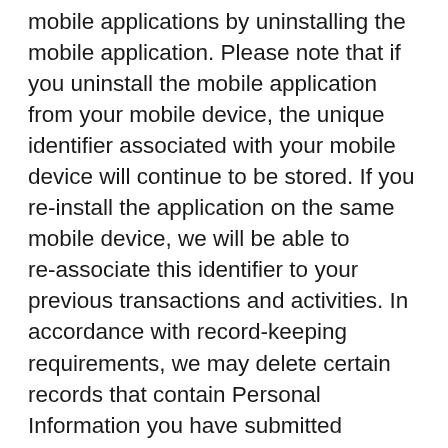mobile applications by uninstalling the mobile application. Please note that if you uninstall the mobile application from your mobile device, the unique identifier associated with your mobile device will continue to be stored. If you re-install the application on the same mobile device, we will be able to re-associate this identifier to your previous transactions and activities. In accordance with record-keeping requirements, we may delete certain records that contain Personal Information you have submitted through the Sites. We are under no obligation to store such Personal Information indefinitely and disclaim any liability arising out of, or related to, the destruction of such Personal Information. In addition, you should be